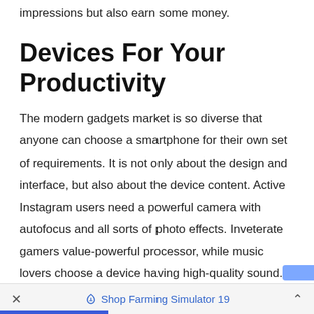impressions but also earn some money.
Devices For Your Productivity
The modern gadgets market is so diverse that anyone can choose a smartphone for their own set of requirements. It is not only about the design and interface, but also about the device content. Active Instagram users need a powerful camera with autofocus and all sorts of photo effects. Inveterate gamers value-powerful processor, while music lovers choose a device having high-quality sound.
Tabs are one of the most widespread gadgets.
Shop Farming Simulator 19